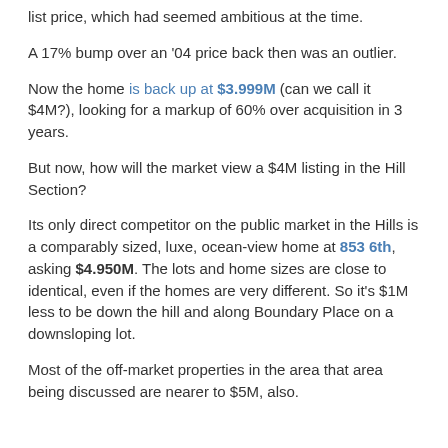list price, which had seemed ambitious at the time.
A 17% bump over an '04 price back then was an outlier.
Now the home is back up at $3.999M (can we call it $4M?), looking for a markup of 60% over acquisition in 3 years.
But now, how will the market view a $4M listing in the Hill Section?
Its only direct competitor on the public market in the Hills is a comparably sized, luxe, ocean-view home at 853 6th, asking $4.950M. The lots and home sizes are close to identical, even if the homes are very different. So it's $1M less to be down the hill and along Boundary Place on a downsloping lot.
Most of the off-market properties in the area that area being discussed are nearer to $5M, also.